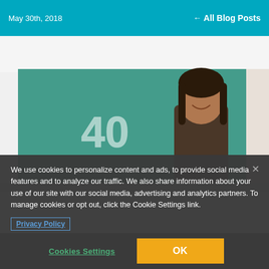May 30th, 2019 ← All Blog Posts
[Figure (photo): A smiling female teacher standing in front of a green chalkboard with the number '40' written on it]
We use cookies to personalize content and ads, to provide social media features and to analyze our traffic. We also share information about your use of our site with our social media, advertising and analytics partners. To manage cookies or opt out, click the Cookie Settings link.
Privacy Policy
Cookies Settings
OK